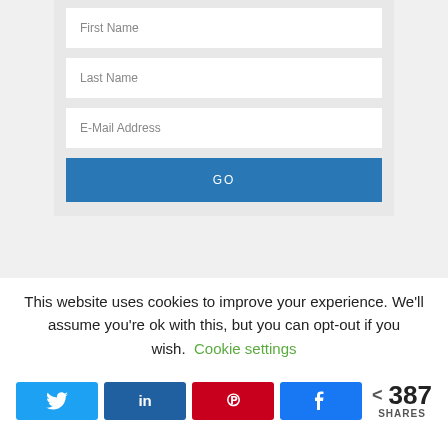[Figure (screenshot): Web form with First Name, Last Name, E-Mail Address input fields and a GO button on a light grey background]
This website uses cookies to improve your experience. We'll assume you're ok with this, but you can opt-out if you wish. Cookie settings
[Figure (infographic): Social share bar with Twitter, LinkedIn, Pinterest, Facebook buttons and a share count showing 387 SHARES]